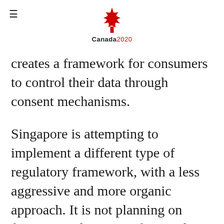Canada2020
creates a framework for consumers to control their data through consent mechanisms.
Singapore is attempting to implement a different type of regulatory framework, with a less aggressive and more organic approach. It is not planning on forcing regulations on financial institutions.  The Monetary Authority of Singapore will be working